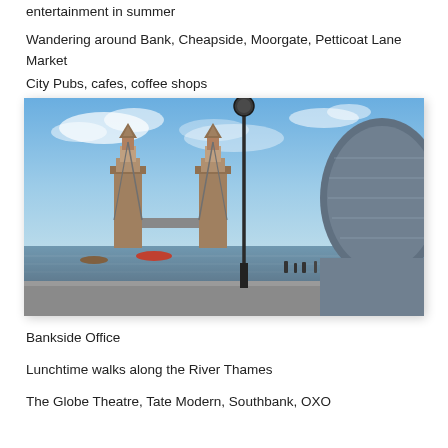entertainment in summer
Wandering around Bank, Cheapside, Moorgate, Petticoat Lane Market
City Pubs, cafes, coffee shops
[Figure (photo): Photograph of Tower Bridge in London with a lamppost in the foreground and City Hall on the right, taken from the South Bank along the River Thames on a sunny day with blue sky and clouds.]
Bankside Office
Lunchtime walks along the River Thames
The Globe Theatre, Tate Modern, Southbank, OXO